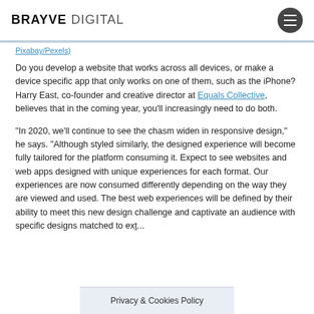BRAYVE DIGITAL
Pixabay/Pexels)
Do you develop a website that works across all devices, or make a device specific app that only works on one of them, such as the iPhone? Harry East, co-founder and creative director at Equals Collective, believes that in the coming year, you'll increasingly need to do both.
“In 2020, we’ll continue to see the chasm widen in responsive design,” he says. “Although styled similarly, the designed experience will become fully tailored for the platform consuming it. Expect to see websites and web apps designed with unique experiences for each format. Our experiences are now consumed differently depending on the way they are viewed and used. The best web experiences will be defined by their ability to meet this new design challenge and captivate an audience with specific designs matched to ex... platform.”
Privacy & Cookies Policy